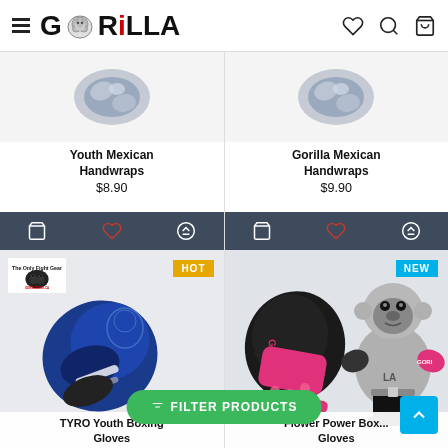Gorilla Gear - Navigation header with logo, hamburger menu, wishlist, search, and cart icons
[Figure (screenshot): Youth Mexican Handwraps product image - grey handwrap gloves]
Youth Mexican Handwraps
$8.90
[Figure (screenshot): Gorilla Mexican Handwraps product image - grey handwrap gloves]
Gorilla Mexican Handwraps
$9.90
[Figure (photo): TYRO Youth Boxing Gloves - blue boxing gloves with HOT badge, Gorilla logo top left]
TYRO Youth Boxing Gloves
[Figure (photo): Flower Power Boxing Gloves - black and pink boxing gloves with gorilla mascot and NEW badge]
Flower Power Boxing Gloves
≡ FILTER PRODUCTS